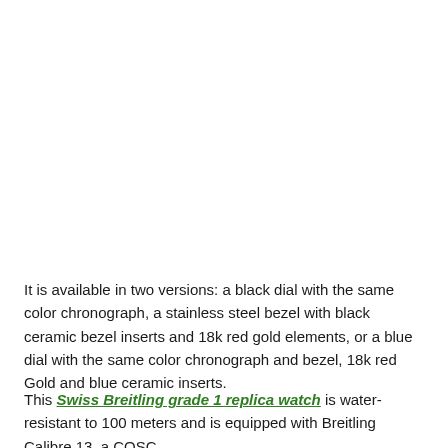It is available in two versions: a black dial with the same color chronograph, a stainless steel bezel with black ceramic bezel inserts and 18k red gold elements, or a blue dial with the same color chronograph and bezel, 18k red Gold and blue ceramic inserts.
This Swiss Breitling grade 1 replica watch is water-resistant to 100 meters and is equipped with Breitling Calibre 13, a COSC